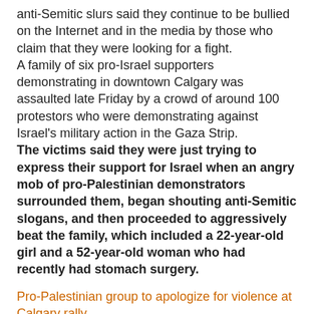anti-Semitic slurs said they continue to be bullied on the Internet and in the media by those who claim that they were looking for a fight.
A family of six pro-Israel supporters demonstrating in downtown Calgary was assaulted late Friday by a crowd of around 100 protestors who were demonstrating against Israel's military action in the Gaza Strip.
The victims said they were just trying to express their support for Israel when an angry mob of pro-Palestinian demonstrators surrounded them, began shouting anti-Semitic slogans, and then proceeded to aggressively beat the family, which included a 22-year-old girl and a 52-year-old woman who had recently had stomach surgery.
Pro-Palestinian group to apologize for violence at Calgary rally
One of the organizers of a Gaza peace rally that erupted in violence last week says the group is planning to apologize.